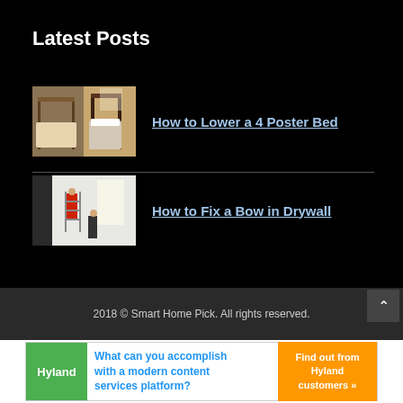Latest Posts
How to Lower a 4 Poster Bed
How to Fix a Bow in Drywall
2018 © Smart Home Pick. All rights reserved.
[Figure (screenshot): Advertisement banner for Hyland content services platform]